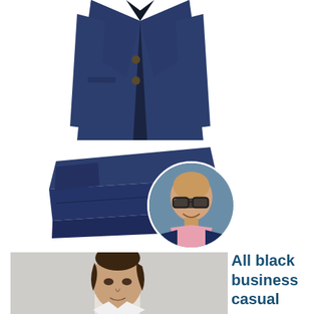[Figure (photo): Navy blue men's suit jacket on white background]
[Figure (photo): Navy blue men's suit trousers folded on white background]
[Figure (photo): Circular portrait of a bald man with glasses smiling, wearing a pink collar shirt against a blue background]
[Figure (photo): Man with dark hair in business casual attire, cropped head and shoulders shot, light gray background]
All black business casual men